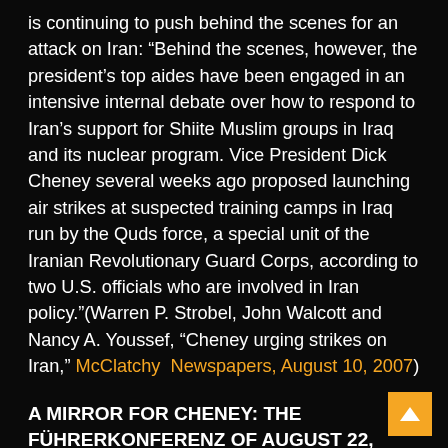is continuing to push behind the scenes for an attack on Iran: “Behind the scenes, however, the president’s top aides have been engaged in an intensive internal debate over how to respond to Iran’s support for Shiite Muslim groups in Iraq and its nuclear program. Vice President Dick Cheney several weeks ago proposed launching air strikes at suspected training camps in Iraq run by the Quds force, a special unit of the Iranian Revolutionary Guard Corps, according to two U.S. officials who are involved in Iran policy.”(Warren P. Strobel, John Walcott and Nancy A. Youssef, “Cheney urging strikes on Iran,” McClatchy Newspapers, August 10, 2007)
A MIRROR FOR CHENEY: THE FÜHRERKONFERENZ OF AUGUST 22, 1939